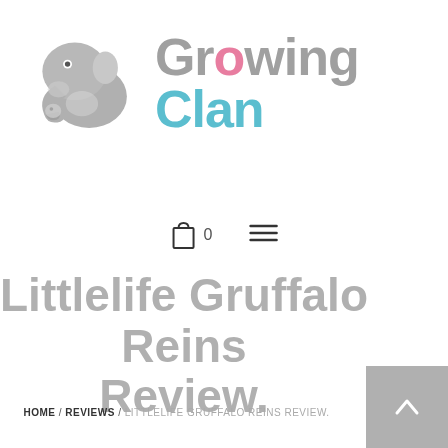[Figure (logo): Growing Clan logo with elephant graphic and colorful text]
[Figure (infographic): Shopping cart icon with 0 count and hamburger menu icon]
Littlelife Gruffalo Reins Review.
HOME / REVIEWS / LITTLELIFE GRUFFALO REINS REVIEW.